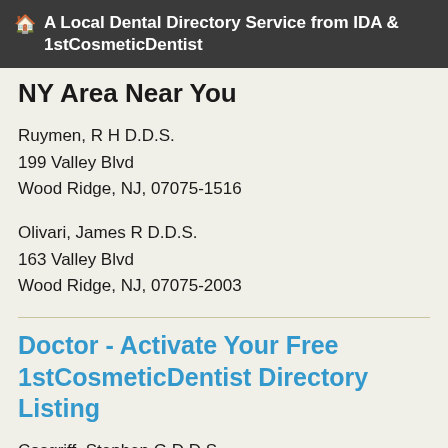🏠 A Local Dental Directory Service from IDA & 1stCosmeticDentist
NY Area Near You
Ruymen, R H D.D.S.
199 Valley Blvd
Wood Ridge, NJ, 07075-1516
Olivari, James R D.D.S.
163 Valley Blvd
Wood Ridge, NJ, 07075-2003
Doctor - Activate Your Free 1stCosmeticDentist Directory Listing
Cosgriff, Stephen G D.D.S.
304 Hackensack St # 1
Wood Ridge, NJ, 07075-1300
Young, George B D.D.S.
267 Valley Blvd
Wood Ridge, NJ, 07075-1201